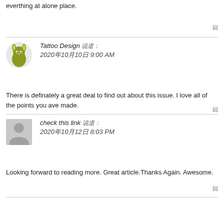everthing at alone place.
回
Tattoo Design 说道：
2020年10月10日 9:00 AM
There is definately a great deal to find out about this issue. I love all of the points you ave made.
回
check this link 说道：
2020年10月12日 8:03 PM
Looking forward to reading more. Great article.Thanks Again. Awesome.
回